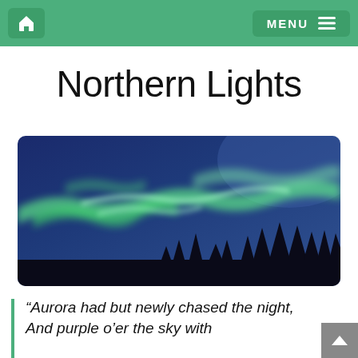Home | MENU
Northern Lights
[Figure (photo): Aurora borealis (Northern Lights) — green luminous bands swirling across a deep blue night sky, with dark silhouetted trees along the bottom edge.]
“Aurora had but newly chased the night, And purple o’er the sky with